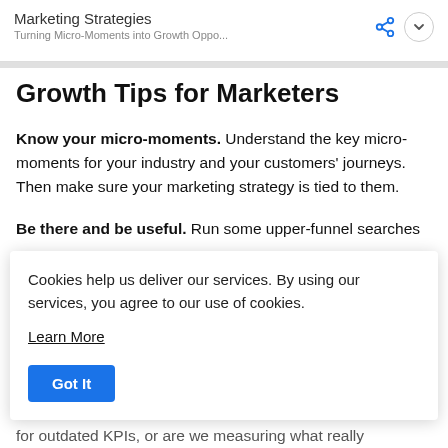Marketing Strategies
Turning Micro-Moments into Growth Oppo...
Growth Tips for Marketers
Know your micro-moments. Understand the key micro-moments for your industry and your customers' journeys. Then make sure your marketing strategy is tied to them.
Be there and be useful. Run some upper-funnel searches
Cookies help us deliver our services. By using our services, you agree to our use of cookies.
Learn More
Got It
for outdated KPIs, or are we measuring what really